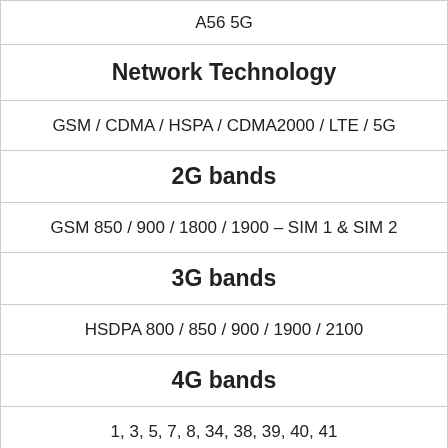A56 5G
Network Technology
GSM / CDMA / HSPA / CDMA2000 / LTE / 5G
2G bands
GSM 850 / 900 / 1800 / 1900 – SIM 1 & SIM 2
3G bands
HSDPA 800 / 850 / 900 / 1900 / 2100
4G bands
1, 3, 5, 7, 8, 34, 38, 39, 40, 41
Network Speed